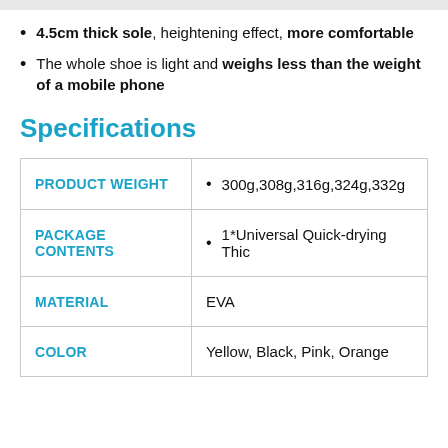4.5cm thick sole, heightening effect, more comfortable
The whole shoe is light and weighs less than the weight of a mobile phone
Specifications
| PRODUCT WEIGHT | 300g,308g,316g,324g,332g |
| PACKAGE CONTENTS | 1*Universal Quick-drying Thic |
| MATERIAL | EVA |
| COLOR | Yellow, Black, Pink, Orange |